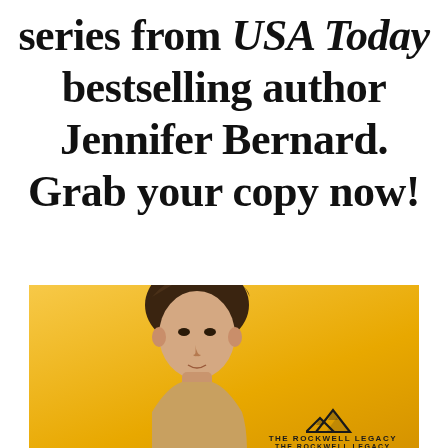series from USA Today bestselling author Jennifer Bernard. Grab your copy now!
[Figure (photo): Book cover for 'The Rockwell Legacy' series showing a young man with brown hair on a yellow/golden background, with mountain logo and series title at bottom right.]